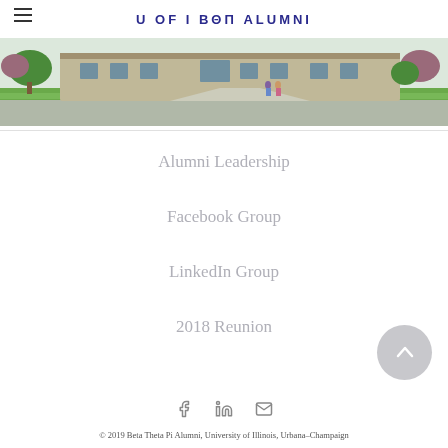U OF I BΘΠ ALUMNI
[Figure (photo): Exterior architectural rendering of a building with trees and two people walking on a path]
Alumni Leadership
Facebook Group
LinkedIn Group
2018 Reunion
[Figure (illustration): Social media icons: Facebook, LinkedIn, Email]
© 2019 Beta Theta Pi Alumni, University of Illinois, Urbana–Champaign